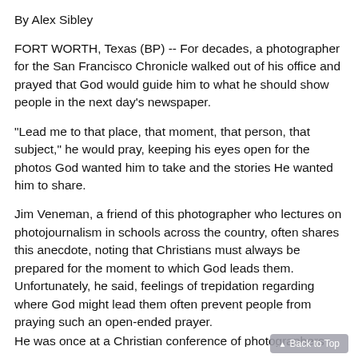By Alex Sibley
FORT WORTH, Texas (BP) -- For decades, a photographer for the San Francisco Chronicle walked out of his office and prayed that God would guide him to what he should show people in the next day's newspaper.
"Lead me to that place, that moment, that person, that subject," he would pray, keeping his eyes open for the photos God wanted him to take and the stories He wanted him to share.
Jim Veneman, a friend of this photographer who lectures on photojournalism in schools across the country, often shares this anecdote, noting that Christians must always be prepared for the moment to which God leads them. Unfortunately, he said, feelings of trepidation regarding where God might lead them often prevent people from praying such an open-ended prayer.
He was once at a Christian conference of photographers and his...